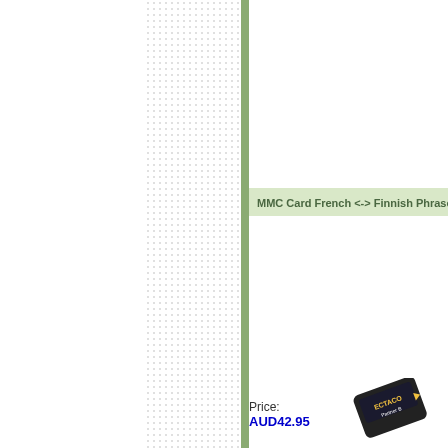[Figure (other): White background left panel with dotted/halftone pattern area and green vertical bar separator]
MMC Card French <-> Finnish Phrase
Price: AUD42.95
[Figure (photo): ECTACO Partner B device image, partial view in bottom right corner]